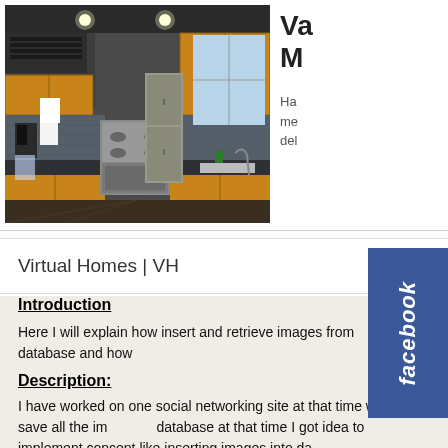[Figure (photo): Interior photo of a modern kitchen with dark granite countertops, wooden cabinets, stainless steel appliances including a range and refrigerator, and a window with natural light at the far end.]
Va M
Ha me del
Virtual Homes | VH
Introduction
Here I will explain how insert and retrieve images from database and how
Description:
I have worked on one social networking site at that time we save all the images in database at that time I got idea to implement concept like inserting images into da binding images to gridview using asp.net for that we need follow below steps